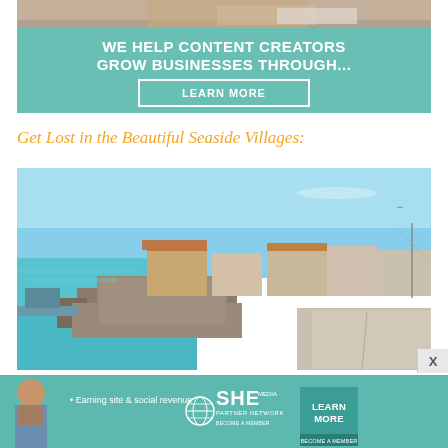[Figure (infographic): Teal advertisement banner with white bold text: 'WE HELP CONTENT CREATORS GROW BUSINESSES THROUGH...' and a 'LEARN MORE' button with white border. Top portion shows a cropped photo of a person at a laptop.]
Get Lost in the Beautiful Seaside Villages:
[Figure (photo): Panoramic photo of a seaside village showing stone walls, buildings with orange rooftops, turquoise water, clear blue sky, and a coastal road stretching to the right.]
[Figure (infographic): Bottom banner ad for SHE Partner Network on teal background. Shows a woman figure on left, text '• Earning site & social revenue', SHE logo with globe icon, and a 'LEARN MORE / BECOME A MEMBER' green button on the right.]